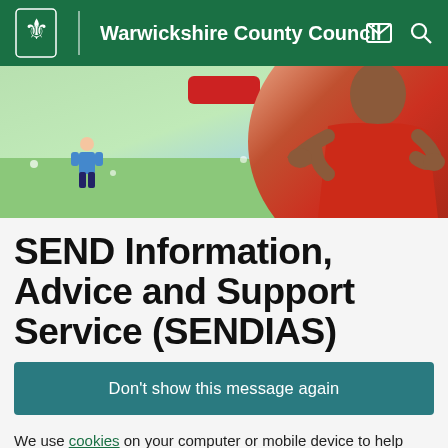Warwickshire County Council
[Figure (screenshot): Hero banner image showing a green and blue illustrated background with a small cartoon figure on the left, a red button in the center top, and a person in a red top signing in British Sign Language on the right.]
SEND Information, Advice and Support Service (SENDIAS)
Don't show this message again
We use cookies on your computer or mobile device to help make this website better. You can change your cookie settings at any time. Otherwise, we'll assume you're OK to continue.